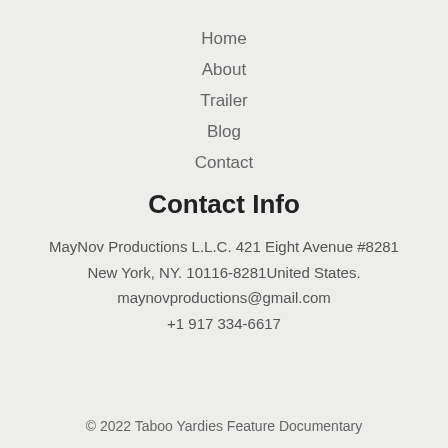Home
About
Trailer
Blog
Contact
Contact Info
MayNov Productions L.L.C. 421 Eight Avenue #8281 New York, NY. 10116-8281United States.
maynovproductions@gmail.com
+1 917 334-6617
© 2022 Taboo Yardies Feature Documentary